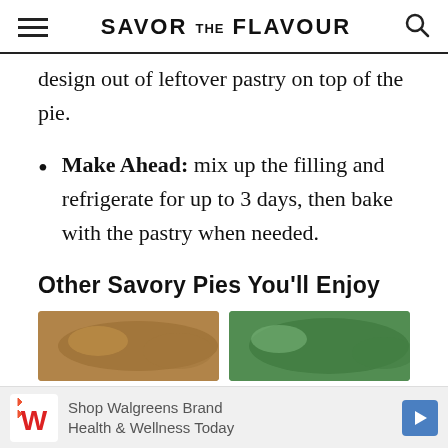SAVOR THE FLAVOUR
design out of leftover pastry on top of the pie.
Make Ahead: mix up the filling and refrigerate for up to 3 days, then bake with the pastry when needed.
Other Savory Pies You'll Enjoy
[Figure (photo): Photo of a savory pie with golden pastry top in a dark dish]
[Figure (photo): Photo of a savory pie with green vegetables and pastry in a dish]
Shop Walgreens Brand Health & Wellness Today